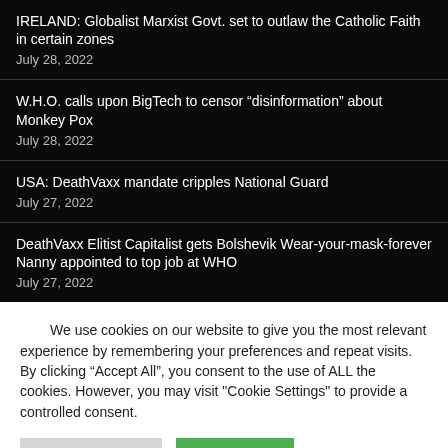IRELAND: Globalist Marxist Govt. set to outlaw the Catholic Faith in certain zones
July 28, 2022
W.H.O. calls upon BigTech to censor “disinformation” about Monkey Pox
July 28, 2022
USA: DeathVaxx mandate cripples National Guard
July 27, 2022
DeathVaxx Elitist Capitalist gets Bolshevik Wear-your-mask-forever Nanny appointed to top job at WHO
July 27, 2022
We use cookies on our website to give you the most relevant experience by remembering your preferences and repeat visits. By clicking “Accept All”, you consent to the use of ALL the cookies. However, you may visit "Cookie Settings" to provide a controlled consent.
Cookie Settings | Accept All